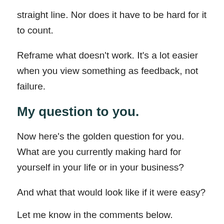straight line. Nor does it have to be hard for it to count.
Reframe what doesn't work. It's a lot easier when you view something as feedback, not failure.
My question to you.
Now here's the golden question for you. What are you currently making hard for yourself in your life or in your business?
And what that would look like if it were easy?
Let me know in the comments below.
About Melissa